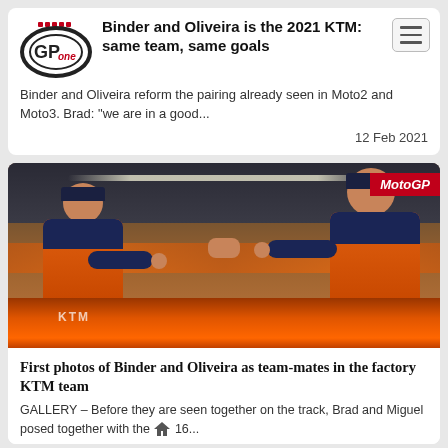Binder and Oliveira is the 2021 KTM: same team, same goals
Binder and Oliveira reform the pairing already seen in Moto2 and Moto3. Brad: "we are in a good..."
12 Feb 2021
[Figure (photo): Two KTM MotoGP riders in orange and navy team gear fist-bumping in the garage, with a MotoGP badge in top right corner]
First photos of Binder and Oliveira as team-mates in the factory KTM team
GALLERY – Before they are seen together on the track, Brad and Miguel posed together with the RC16...